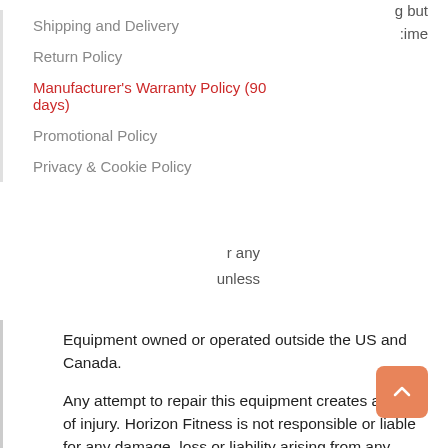Shipping and Delivery
Return Policy
Manufacturer's Warranty Policy (90 days)
Promotional Policy
Privacy & Cookie Policy
Equipment owned or operated outside the US and Canada.
Any attempt to repair this equipment creates a risk of injury. Horizon Fitness is not responsible or liable for any damage, loss or liability arising from any personal injury incurred during the course of, or as a result of any repair or attempted repair of your fitness equipment by other than an authorized service technician. All repairs attempted by you on your fitness equipment are undertaken AT YOUR OWN RISK and Horizon Fitness shall have no liability for any injury to the